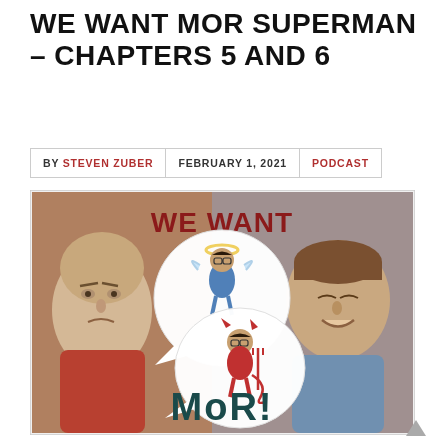WE WANT MOR SUPERMAN – CHAPTERS 5 AND 6
BY STEVEN ZUBER | FEBRUARY 1, 2021 | PODCAST
[Figure (illustration): Podcast cover art for 'We Want MoR!' showing two cartoon men in conversation with speech bubbles. One bubble contains an angel figure (small person with halo and wings in blue), another contains a devil figure (small person with devil horns and pitchfork in red). Text reads 'WE WANT' at the top in dark red and 'MoR!' at the bottom in dark teal.]